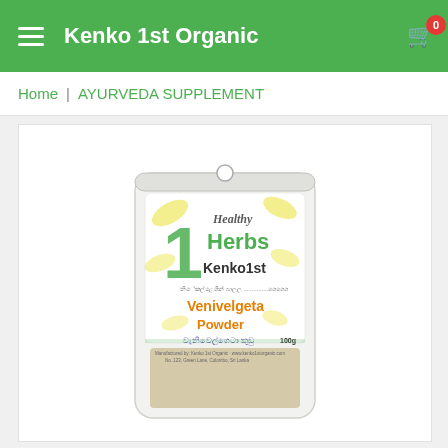Kenko 1st Organic
Home | AYURVEDA SUPPLEMENT
[Figure (photo): Product packaging photo of '1 Healthy Herbs Kenko 1st Venivelgeta Powder' (100g) – a white stand-up pouch with green and yellow botanical leaf design, showing the powder through a clear window at the bottom.]